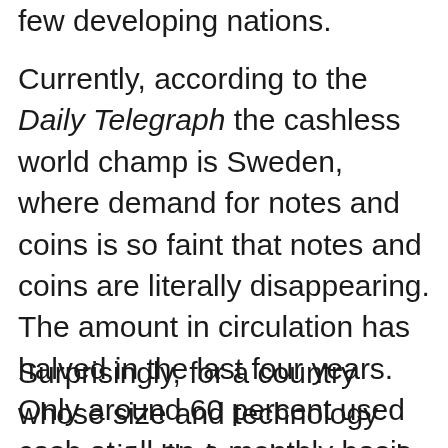few developing nations.
Currently, according to the Daily Telegraph the cashless world champ is Sweden, where demand for notes and coins is so faint that notes and coins are literally disappearing. The amount in circulation has halved in the last four years. Only around 60 percent used cash at all on a monthly basis, according to the last survey, a “cashless spiral” whose implications are belatedly the subject of an urgent Swedish government inquiry.
Surprisingly, for a country whose size and technology means it’s likely to be an early global starter, there has been